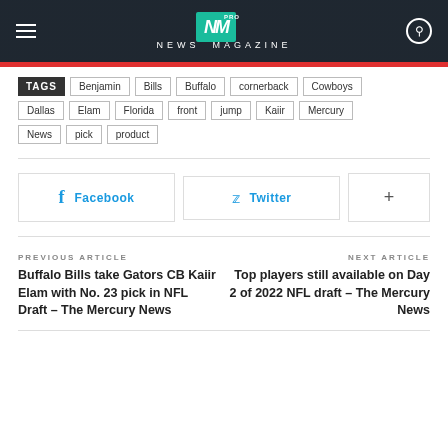NM PRO NEWS MAGAZINE
TAGS Benjamin Bills Buffalo cornerback Cowboys Dallas Elam Florida front jump Kaiir Mercury News pick product
[Figure (other): Social share buttons: Facebook, Twitter, and plus (+) button]
PREVIOUS ARTICLE
Buffalo Bills take Gators CB Kaiir Elam with No. 23 pick in NFL Draft – The Mercury News
NEXT ARTICLE
Top players still available on Day 2 of 2022 NFL draft – The Mercury News